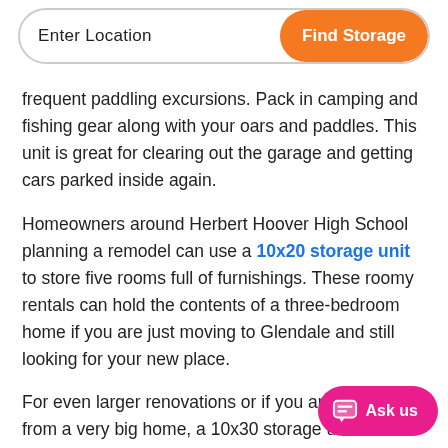Enter Location | Find Storage
frequent paddling excursions. Pack in camping and fishing gear along with your oars and paddles. This unit is great for clearing out the garage and getting cars parked inside again.
Homeowners around Herbert Hoover High School planning a remodel can use a 10x20 storage unit to store five rooms full of furnishings. These roomy rentals can hold the contents of a three-bedroom home if you are just moving to Glendale and still looking for your new place.
For even larger renovations or if you are relocating from a very big home, a 10x30 storage unit should be a good fit. About the size of a two-car gara... extra-large storage rentals can hold more t...